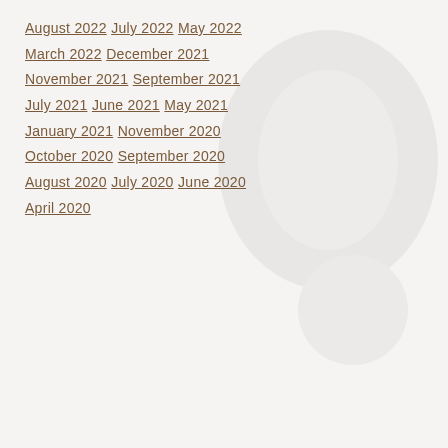August 2022
July 2022
May 2022
March 2022
December 2021
November 2021
September 2021
July 2021
June 2021
May 2021
January 2021
November 2020
October 2020
September 2020
August 2020
July 2020
June 2020
April 2020